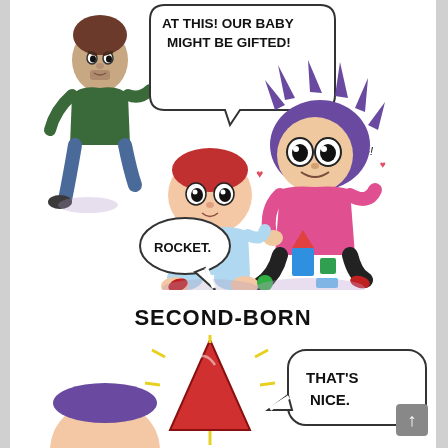[Figure (illustration): Comic strip panel showing first-born child scenario: A father running excitedly with speech bubble 'AT THIS! OUR BABY MIGHT BE GIFTED!', a mother crouching down amazed with text 'AMAZING!' nearby, and a baby/toddler sitting on the floor with toy blocks. The mother says 'ROCKET.' in a speech bubble. The baby has stacked a block tower with a triangular red top.]
SECOND-BORN
[Figure (illustration): Bottom panel showing second-born child scenario: A red rocket/triangle shape with yellow sparkle lines, a speech bubble saying 'THAT'S NICE.' and the bottom of a parent's face visible.]